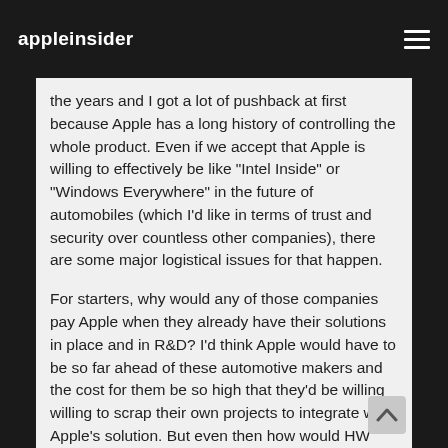appleinsider
the years and I got a lot of pushback at first because Apple has a long history of controlling the whole product. Even if we accept that Apple is willing to effectively be like "Intel Inside" or "Windows Everywhere" in the future of automobiles (which I'd like in terms of trust and security over countless other companies), there are some major logistical issues for that happen.
For starters, why would any of those companies pay Apple when they already have their solutions in place and in R&D? I'd think Apple would have to be so far ahead of these automotive makers and the cost for them be so high that they'd be willing willing to scrap their own projects to integrate with Apple's solution. But even then how would HW support be handled? Apple silicon could be a requirement, but what about all the sensors used by the automotive maker which are sourced from vendors? If anyone can figure that out I think Apple under Cook can, but I still can't see a